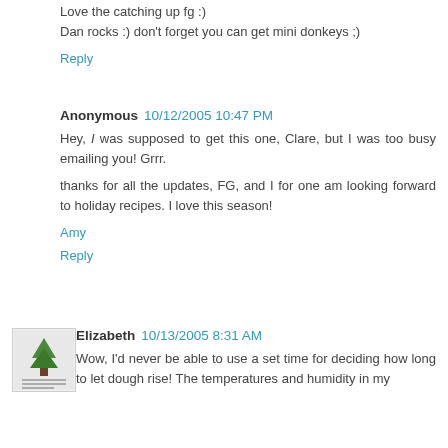Love the catching up fg :)
Dan rocks :) don't forget you can get mini donkeys ;)
Reply
Anonymous 10/12/2005 10:47 PM
Hey, I was supposed to get this one, Clare, but I was too busy emailing you! Grrr.

thanks for all the updates, FG, and I for one am looking forward to holiday recipes. I love this season!
Amy
Reply
Elizabeth 10/13/2005 8:31 AM
Wow, I'd never be able to use a set time for deciding how long to let dough rise! The temperatures and humidity in my